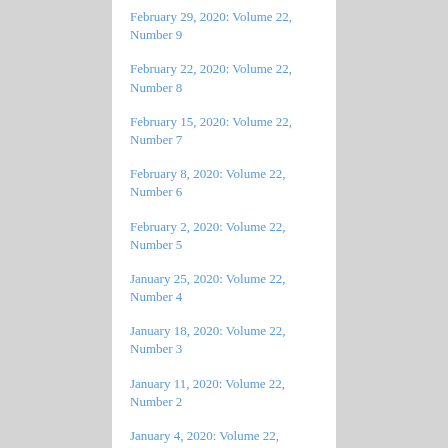February 29, 2020: Volume 22, Number 9
February 22, 2020: Volume 22, Number 8
February 15, 2020: Volume 22, Number 7
February 8, 2020: Volume 22, Number 6
February 2, 2020: Volume 22, Number 5
January 25, 2020: Volume 22, Number 4
January 18, 2020: Volume 22, Number 3
January 11, 2020: Volume 22, Number 2
January 4, 2020: Volume 22, Number 1